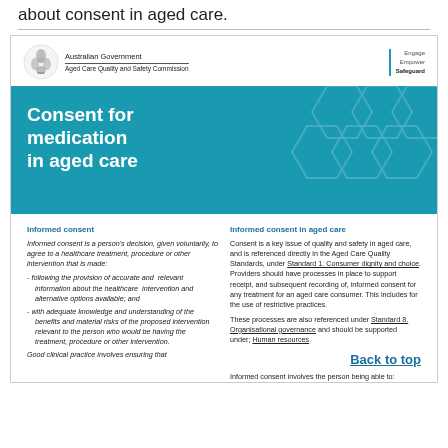about consent in aged care.
[Figure (logo): Australian Government Aged Care Quality and Safety Commission logo with crest, and Engage Empower Safeguard tagline]
Consent for medication in aged care
Informed consent
Informed consent is a person's decision, given voluntarily, to agree to a healthcare treatment, procedure or other intervention that is made:
- following the provision of accurate and relevant information about the healthcare intervention and alternative options available; and
- with adequate knowledge and understanding of the benefits and material risks of the proposed intervention relevant to the person who would be having the treatment, procedure or other intervention.
Good clinical practice involves ensuring that
Informed consent in aged care
Consent is a key issue of quality and safety in aged care, and is referenced directly in the Aged Care Quality Standards, under Standard 1. Consumer dignity and choice. Providers should have processes in place to support receipt, and subsequent recording of, informed consent for any treatment for an aged care consumer. This includes for the use of restrictive practices.
These processes are also referenced under Standard 8. Organisational governance and should be supported under; Human resources.
Informed consent involves the person being able to: